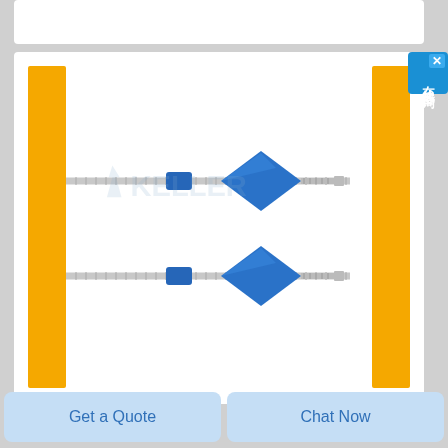[Figure (photo): Two KELLER brand threaded rod anchors with blue diamond-shaped flanges and blue barrel connectors on flexible threaded rods, shown on a white background with yellow vertical bars on left and right sides. KELLER logo watermark visible in background.]
[Figure (other): Blue online consultation button with Chinese text '在线咨询' (online consultation) and a close X button in top-right corner of page.]
Get a Quote
Chat Now